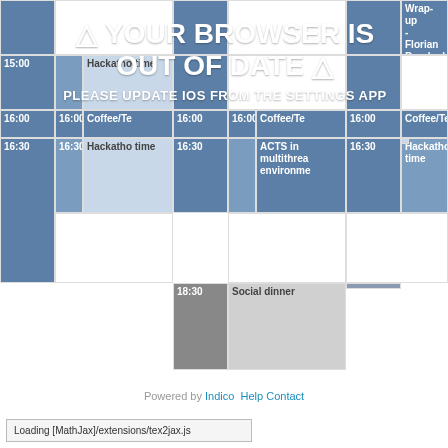[Figure (screenshot): Conference schedule grid showing time slots from 15:00 to 18:30 across multiple days, with events including Hackathon time, Coffee/Tea breaks, ACTS in multithreaded environments, Social dinner, and Wrap-up by Florian Bernlochner (KIT). Overlaid with a browser out-of-date warning message.]
△ YOUR BROWSER IS OUT OF DATE △
PLEASE UPDATE IOS FROM THE SETTINGS APP
Powered by Indico  Help | Contact
Loading [MathJax]/extensions/tex2jax.js